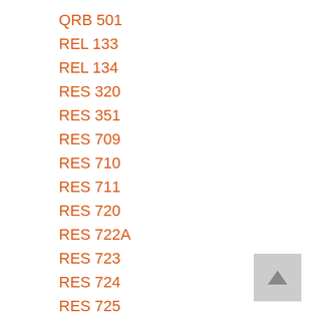QRB 501
REL 133
REL 134
RES 320
RES 351
RES 709
RES 710
RES 711
RES 720
RES 722A
RES 723
RES 724
RES 725
RES 726
RES 727
SCI 100
SCI 151